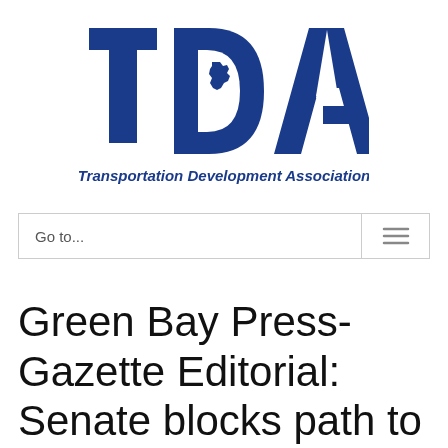[Figure (logo): TDA Transportation Development Association logo with blue block letters TDA and Wisconsin state outline embedded in the D, with italic tagline 'Transportation Development Association' below]
[Figure (screenshot): Navigation bar with 'Go to...' text on left and hamburger menu icon on right, bordered with light gray]
Green Bay Press-Gazette Editorial: Senate blocks path to road deal
July 22, 2017